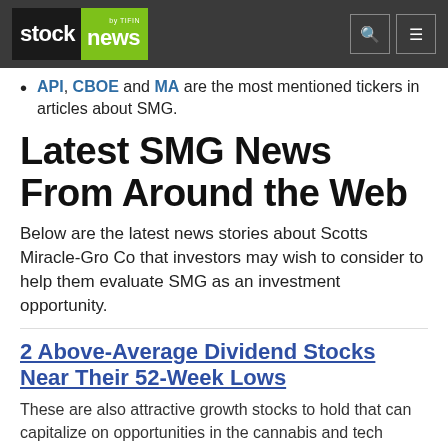stock news by TIFIN
API, CBOE and MA are the most mentioned tickers in articles about SMG.
Latest SMG News From Around the Web
Below are the latest news stories about Scotts Miracle-Gro Co that investors may wish to consider to help them evaluate SMG as an investment opportunity.
2 Above-Average Dividend Stocks Near Their 52-Week Lows
These are also attractive growth stocks to hold that can capitalize on opportunities in the cannabis and tech sectors.